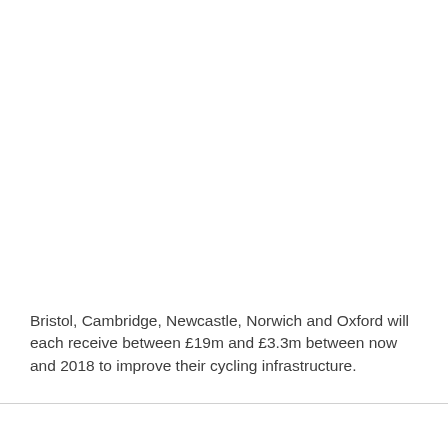Bristol, Cambridge, Newcastle, Norwich and Oxford will each receive between £19m and £3.3m between now and 2018 to improve their cycling infrastructure.